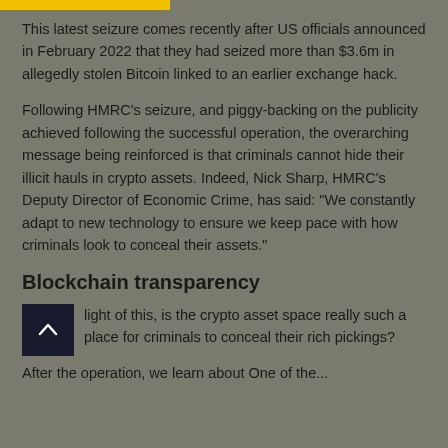This latest seizure comes recently after US officials announced in February 2022 that they had seized more than $3.6m in allegedly stolen Bitcoin linked to an earlier exchange hack.
Following HMRC's seizure, and piggy-backing on the publicity achieved following the successful operation, the overarching message being reinforced is that criminals cannot hide their illicit hauls in crypto assets. Indeed, Nick Sharp, HMRC's Deputy Director of Economic Crime, has said: "We constantly adapt to new technology to ensure we keep pace with how criminals look to conceal their assets."
Blockchain transparency
light of this, is the crypto asset space really such a place for criminals to conceal their rich pickings? After the operation, we learn about One of the...